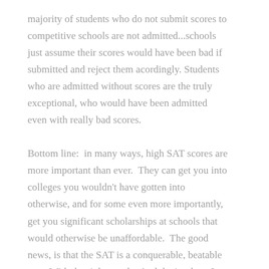majority of students who do not submit scores to competitive schools are not admitted...schools just assume their scores would have been bad if submitted and reject them acordingly. Students who are admitted without scores are the truly exceptional, who would have been admitted even with really bad scores.
Bottom line:  in many ways, high SAT scores are more important than ever.  They can get you into colleges you wouldn't have gotten into otherwise, and for some even more importantly, get you significant scholarships at schools that would otherwise be unaffordable.  The good news, is that the SAT is a conquerable, beatable test.  With the right coach.  And that's where I come in.
Contact me today for information about virtual SAT classes